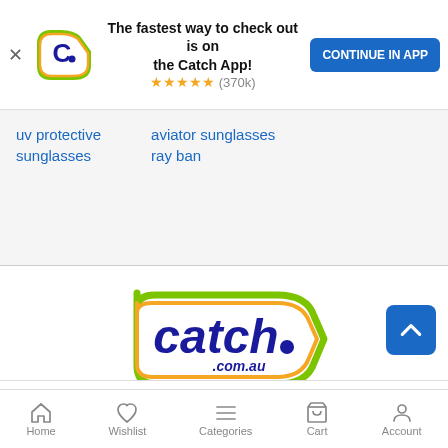[Figure (screenshot): Catch.com.au app banner with logo, text 'The fastest way to check out is on the Catch App!', star rating (370k), and 'CONTINUE IN APP' button]
uv protective sunglasses
aviator sunglasses
ray ban
[Figure (logo): Catch.com.au logo: stylized shield/arrow shape with green and orange border, dark blue text 'catch.' and '.com.au' below]
ABOUT US +
CONTACT & SUPPORT +
Home  Wishlist  Categories  Cart  Account